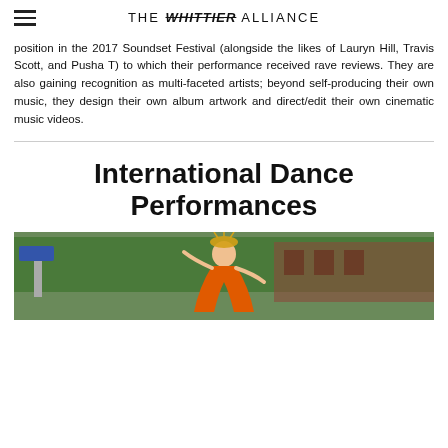THE WHITTIER ALLIANCE
position in the 2017 Soundset Festival (alongside the likes of Lauryn Hill, Travis Scott, and Pusha T) to which their performance received rave reviews. They are also gaining recognition as multi-faceted artists; beyond self-producing their own music, they design their own album artwork and direct/edit their own cinematic music videos.
International Dance Performances
[Figure (photo): A dancer in an orange costume with an ornate headdress performing outdoors, with green trees and a brick building in the background.]